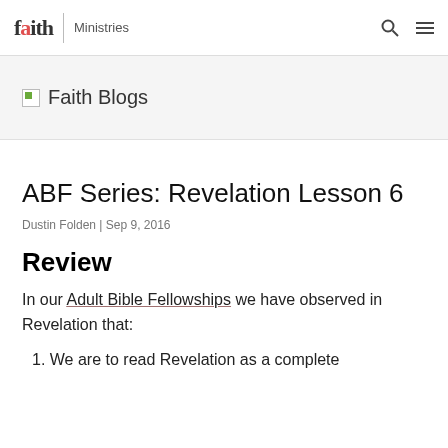faith | Ministries
[Figure (logo): Faith Ministries logo with 'faith' text and 'Ministries' label, plus search and menu icons]
Faith Blogs
ABF Series: Revelation Lesson 6
Dustin Folden | Sep 9, 2016
Review
In our Adult Bible Fellowships we have observed in Revelation that:
1. We are to read Revelation as a complete